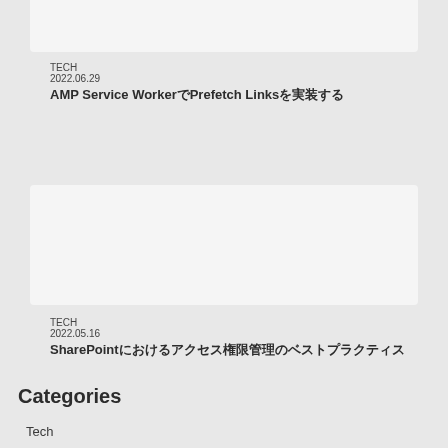[Figure (other): Top image card placeholder (white/light grey rectangle)]
TECH
2022.06.29
AMP Service WorkerでPrefetch Linksを実装する
[Figure (other): Middle image card placeholder (white/light grey rectangle)]
TECH
2022.05.16
SharePointにおけるアクセス権限管理のベストプラクティス
Categories
Tech